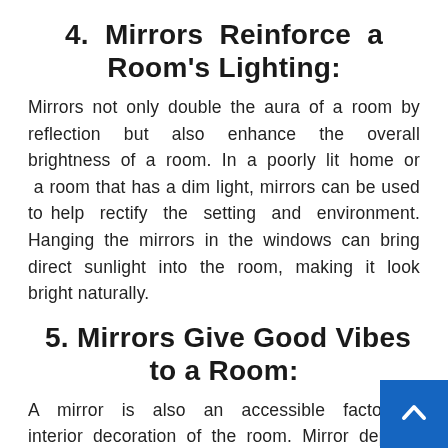4. Mirrors Reinforce a Room's Lighting:
Mirrors not only double the aura of a room by reflection but also enhance the overall brightness of a room. In a poorly lit home or a room that has a dim light, mirrors can be used to help rectify the setting and environment. Hanging the mirrors in the windows can bring direct sunlight into the room, making it look bright naturally.
5. Mirrors Give Good Vibes to a Room:
A mirror is also an accessible factor in interior decoration of the room. Mirror depict